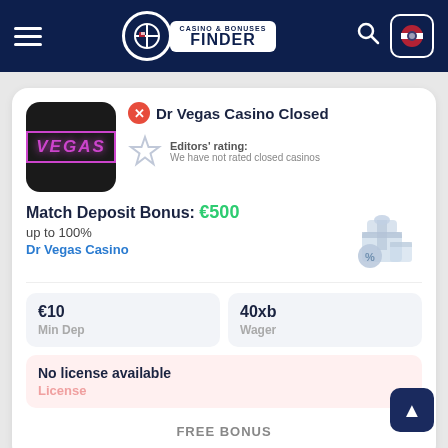CASINO & BONUSES FINDER
Dr Vegas Casino Closed
Editors' rating: We have not rated closed casinos
Match Deposit Bonus: €500 up to 100%
Dr Vegas Casino
€10 Min Dep
40xb Wager
No license available License